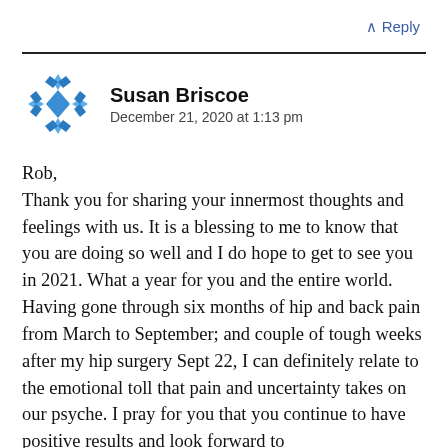^ Reply
[Figure (illustration): Blue geometric/snowflake avatar icon for user Susan Briscoe]
Susan Briscoe
December 21, 2020 at 1:13 pm
Rob,
Thank you for sharing your innermost thoughts and feelings with us. It is a blessing to me to know that you are doing so well and I do hope to get to see you in 2021. What a year for you and the entire world. Having gone through six months of hip and back pain from March to September; and couple of tough weeks after my hip surgery Sept 22, I can definitely relate to the emotional toll that pain and uncertainty takes on our psyche. I pray for you that you continue to have positive results and look forward to